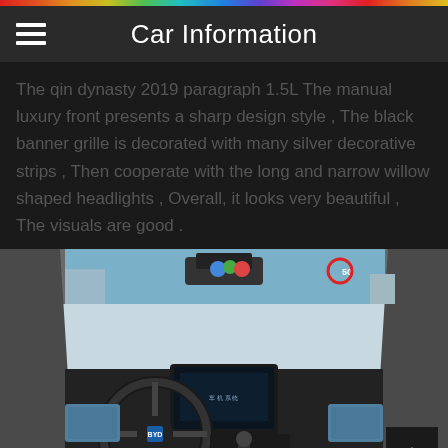Car Information
The qin dynasty 2019 paragraph 1.5L The manual luxury front presents a sharp design style , The black banner grille is decorated with many silver decorative strips , Then cooperate with the long and narrow willow shaped headlights , Overall, it looks very beautiful , The visuals are good .
[Figure (photo): Interior view of the Qin dynasty 2019 car showing the dashboard, steering wheel, center console, infotainment screen, gear shift, and front seats with diamond-pattern floor mats.]